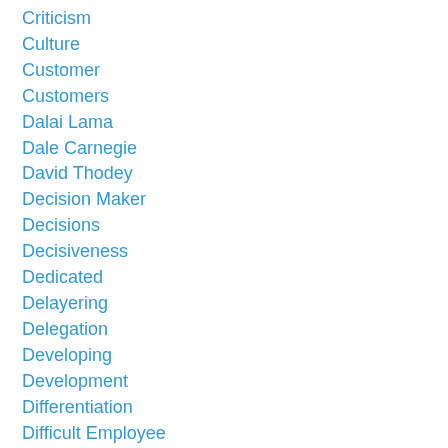Criticism
Culture
Customer
Customers
Dalai Lama
Dale Carnegie
David Thodey
Decision Maker
Decisions
Decisiveness
Dedicated
Delayering
Delegation
Developing
Development
Differentiation
Difficult Employee
Dilutions
Diplomacy
Disc
Discipli...